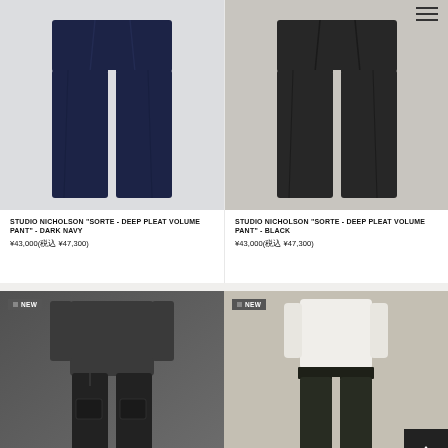[Figure (photo): Studio Nicholson Sorte Deep Pleat Volume Pant in Dark Navy, shown as garment photo on light grey background]
STUDIO NICHOLSON "SORTE - DEEP PLEAT VOLUME PANT" - DARK NAVY
¥43,000(税込 ¥47,300)
[Figure (photo): Studio Nicholson Sorte Deep Pleat Volume Pant in Black, shown as garment photo on grey-brown background]
STUDIO NICHOLSON "SORTE - DEEP PLEAT VOLUME PANT" - BLACK
¥43,000(税込 ¥47,300)
[Figure (photo): NEW badge product photo showing dark cargo pants, model wearing black outfit]
[Figure (photo): NEW badge product photo showing slim dark pants with white top, model on beige background]